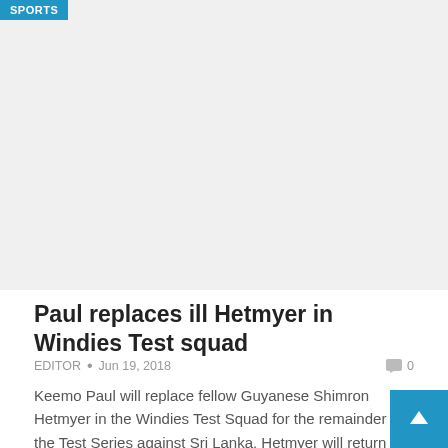[Figure (photo): Sports article image placeholder at top]
Paul replaces ill Hetmyer in Windies Test squad
EDITOR • Jun 19, 2018  0
Keemo Paul will replace fellow Guyanese Shimron Hetmyer in the Windies Test Squad for the remainder of the Test Series against Sri Lanka. Hetmyer will return home to Guyana to recover from a recent illness. While there, he will continue...
[Figure (photo): Sports article image placeholder at bottom]